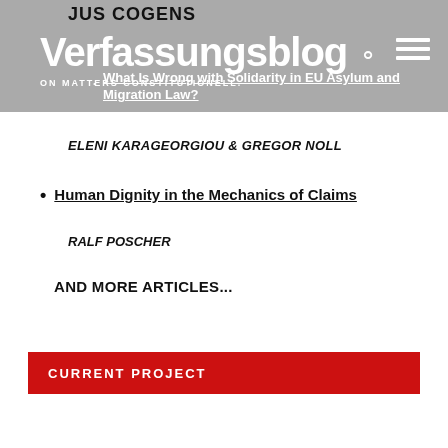JUS COGENS
Verfassungsblog ON MATTERS CONSTITUTIONELL.
What Is Wrong with Solidarity in EU Asylum and Migration Law?
ELENI KARAGEORGIOU & GREGOR NOLL
Human Dignity in the Mechanics of Claims
RALF POSCHER
AND MORE ARTICLES...
CURRENT PROJECT